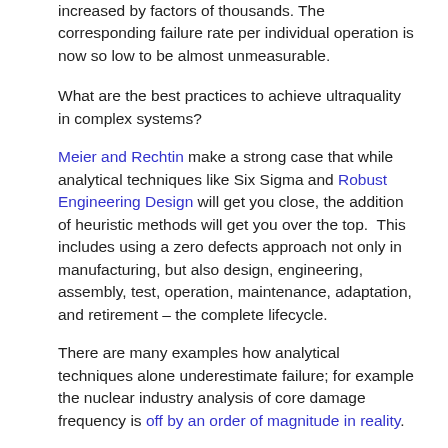increased by factors of thousands. The corresponding failure rate per individual operation is now so low to be almost unmeasurable.
What are the best practices to achieve ultraquality in complex systems?
Meier and Rechtin make a strong case that while analytical techniques like Six Sigma and Robust Engineering Design will get you close, the addition of heuristic methods will get you over the top. This includes using a zero defects approach not only in manufacturing, but also design, engineering, assembly, test, operation, maintenance, adaptation, and retirement – the complete lifecycle.
There are many examples how analytical techniques alone underestimate failure; for example the nuclear industry analysis of core damage frequency is off by an order of magnitude in reality.